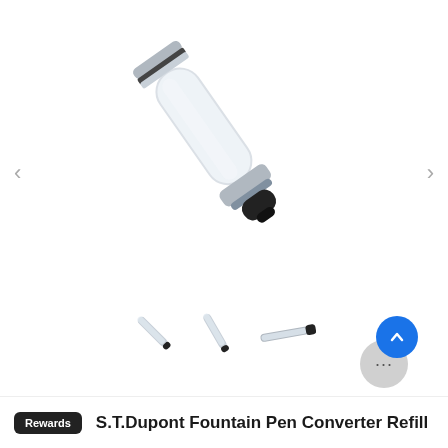[Figure (photo): A fountain pen converter/refill shown diagonally, with a clear transparent barrel and silver/chrome fittings and a black tip, on a white background.]
[Figure (photo): Three small thumbnail images of pen converters/refills shown at different angles: diagonal, slight angle, and horizontal.]
Rewards
S.T.Dupont Fountain Pen Converter Refill